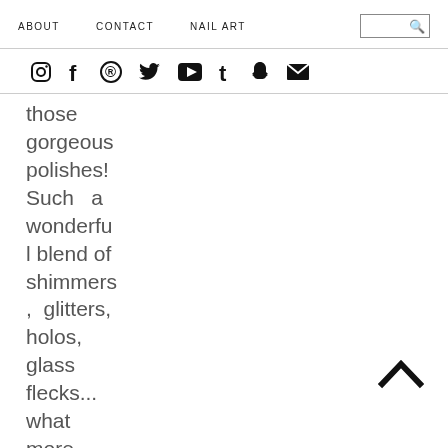ABOUT   CONTACT   NAIL ART
those gorgeous polishes! Such a wonderful blend of shimmers, glitters, holos, glass flecks... what more could a polish lover ask
[Figure (infographic): Social media icons row: Instagram, Facebook, Pinterest, Twitter, YouTube, Tumblr, Snapchat, Email/envelope]
[Figure (illustration): Scroll-up chevron arrow pointing up, bottom right corner]